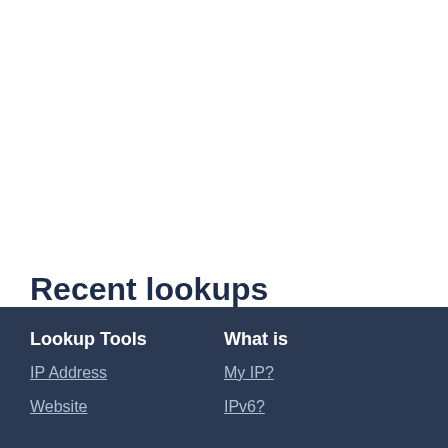Recent lookups
142.250.66.100, 178.79.242.0, 192.168.100.94, 23.33.72.204, 142.250.217.133, 192.168.8.102, 192.168.254.183.
Lookup Tools: IP Address, Website | What is: My IP?, IPv6?